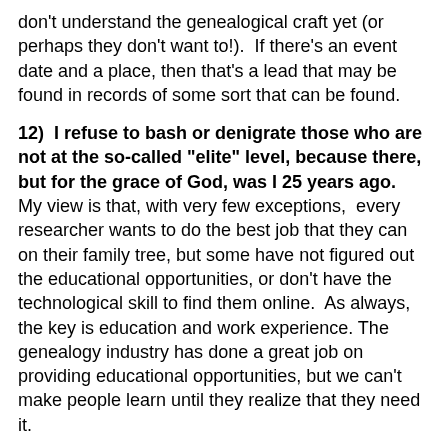don't understand the genealogical craft yet (or perhaps they don't want to!). If there's an event date and a place, then that's a lead that may be found in records of some sort that can be found.
12) I refuse to bash or denigrate those who are not at the so-called "elite" level, because there, but for the grace of God, was I 25 years ago. My view is that, with very few exceptions, every researcher wants to do the best job that they can on their family tree, but some have not figured out the educational opportunities, or don't have the technological skill to find them online. As always, the key is education and work experience. The genealogy industry has done a great job on providing educational opportunities, but we can't make people learn until they realize that they need it.
13) My conclusion is that, if there is an "elite" group, then they follow the BCG Standards, and the Association of Professional Genealogists standards, and adhere to those standards in their research, writing and client services. There are also many researchers...